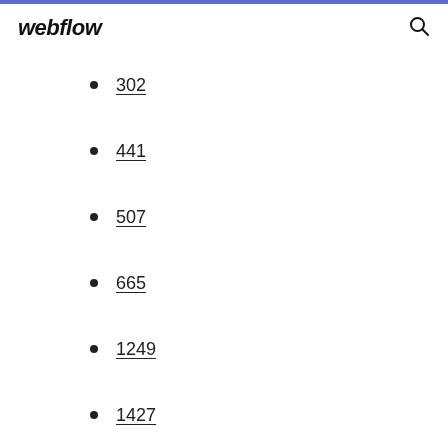webflow
302
441
507
665
1249
1427
738
835
1428
692
608
1801